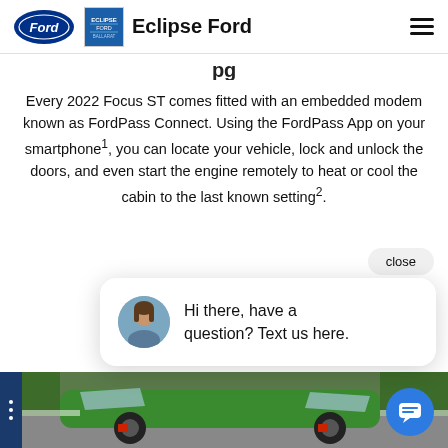Ford — Eclipse Ford
Every 2022 Focus ST comes fitted with an embedded modem known as FordPass Connect. Using the FordPass App on your smartphone¹, you can locate your vehicle, lock and unlock the doors, and even start the engine remotely to heat or cool the cabin to the last known setting².
close
Hi there, have a question? Text us here.
[Figure (photo): Green Ford Focus ST driving on a race track, rear three-quarter view, with trees and barriers in background.]